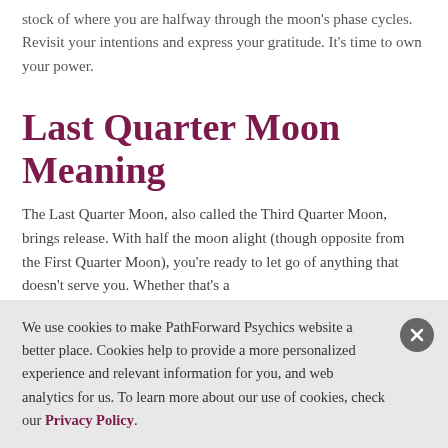stock of where you are halfway through the moon's phase cycles. Revisit your intentions and express your gratitude. It's time to own your power.
Last Quarter Moon Meaning
The Last Quarter Moon, also called the Third Quarter Moon, brings release. With half the moon alight (though opposite from the First Quarter Moon), you're ready to let go of anything that doesn't serve you. Whether that's a
We use cookies to make PathForward Psychics website a better place. Cookies help to provide a more personalized experience and relevant information for you, and web analytics for us. To learn more about our use of cookies, check our Privacy Policy.